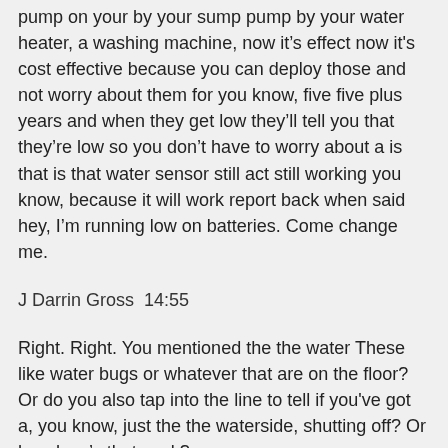pump on your by your sump pump by your water heater, a washing machine, now it's effect now it's cost effective because you can deploy those and not worry about them for you know, five five plus years and when they get low they'll tell you that they're low so you don't have to worry about a is that is that water sensor still act still working you know, because it will work report back when said hey, I'm running low on batteries. Come change me.
J Darrin Gross  14:55
Right. Right. You mentioned the the water These like water bugs or whatever that are on the floor? Or do you also tap into the line to tell if you've got a, you know, just the the waterside, shutting off? Or how how's that work?